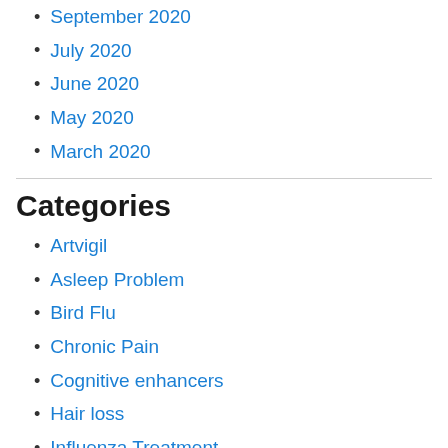September 2020
July 2020
June 2020
May 2020
March 2020
Categories
Artvigil
Asleep Problem
Bird Flu
Chronic Pain
Cognitive enhancers
Hair loss
Influenza Treatment
Insomnia
Medicine
Modafinil
Pain Relief